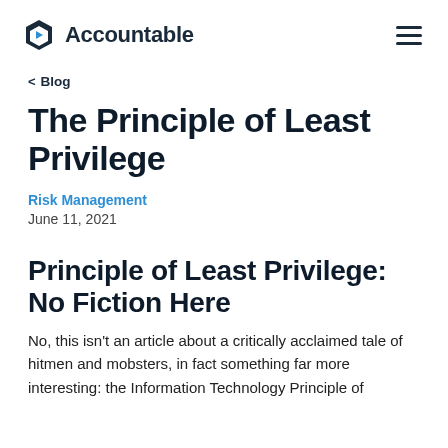Accountable
‹ Blog
The Principle of Least Privilege
Risk Management
June 11, 2021
Principle of Least Privilege: No Fiction Here
No, this isn't an article about a critically acclaimed tale of hitmen and mobsters, in fact something far more interesting: the Information Technology Principle of